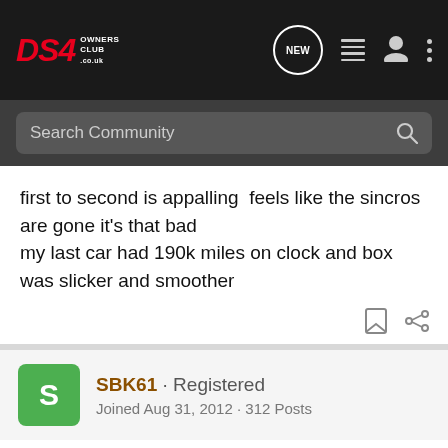[Figure (screenshot): DS4 Owners Club navigation bar with logo, NEW chat icon, list icon, user icon, and three-dots menu icon]
[Figure (screenshot): Search Community search bar on dark background]
first to second is appalling  feels like the sincros are gone it's that bad
my last car had 190k miles on clock and box was slicker and smoother
SBK61 · Registered
Joined Aug 31, 2012 · 312 Posts
#12 · Apr 7, 2013
Dug
Mine is the same going first to second , it even crunches if I